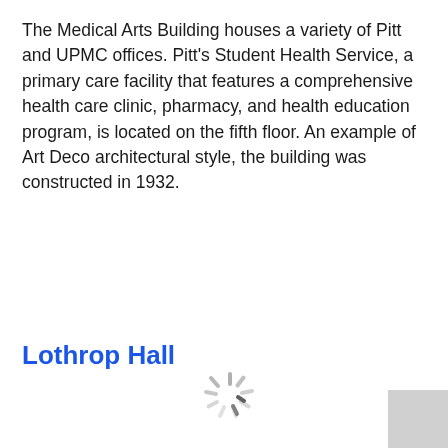The Medical Arts Building houses a variety of Pitt and UPMC offices. Pitt's Student Health Service, a primary care facility that features a comprehensive health care clinic, pharmacy, and health education program, is located on the fifth floor. An example of Art Deco architectural style, the building was constructed in 1932.
Lothrop Hall
[Figure (photo): Partially visible gray rectangle at right edge, likely a cropped photo of Lothrop Hall]
[Figure (other): Loading spinner graphic, a starburst/asterisk shape in gray indicating an image is loading]